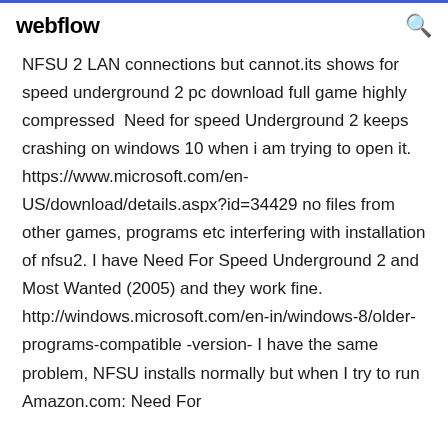webflow
NFSU 2 LAN connections but cannot.its shows for speed underground 2 pc download full game highly compressed  Need for speed Underground 2 keeps crashing on windows 10 when i am trying to open it. https://www.microsoft.com/en-US/download/details.aspx?id=34429 no files from other games, programs etc interfering with installation of nfsu2. I have Need For Speed Underground 2 and Most Wanted (2005) and they work fine. http://windows.microsoft.com/en-in/windows-8/older-programs-compatible -version- I have the same problem, NFSU installs normally but when I try to run Amazon.com: Need For